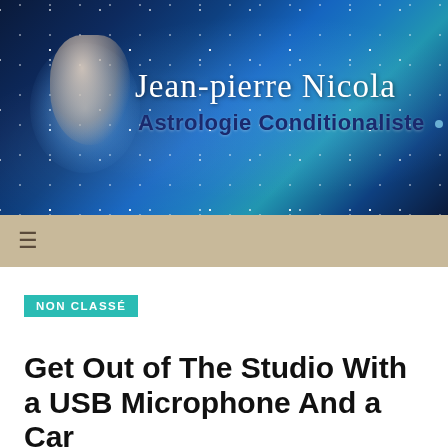[Figure (illustration): Website header banner with dark blue starry night sky background, person figure on left, cursive script text 'Jean-pierre Nicola' and bold subtitle 'Astrologie Conditionaliste']
≡
NON CLASSÉ
Get Out of The Studio With a USB Microphone And a Car